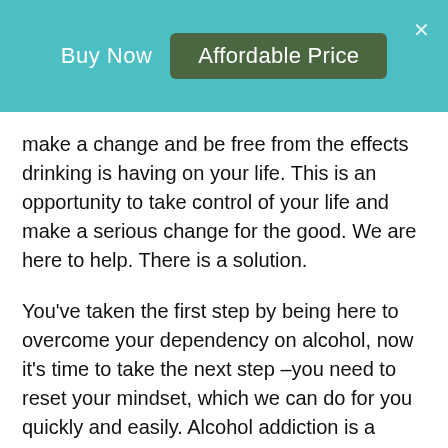Buy Now   Affordable Price
make a change and be free from the effects drinking is having on your life. This is an opportunity to take control of your life and make a serious change for the good. We are here to help. There is a solution.
You've taken the first step by being here to overcome your dependency on alcohol, now it's time to take the next step –you need to reset your mindset, which we can do for you quickly and easily. Alcohol addiction is a mental addiction as well as a physical one. Our unique program can reset your subconscious mind and help you physical and emotional ties that bind you to alcohol.
Tony has helped thousands of customers reduce or